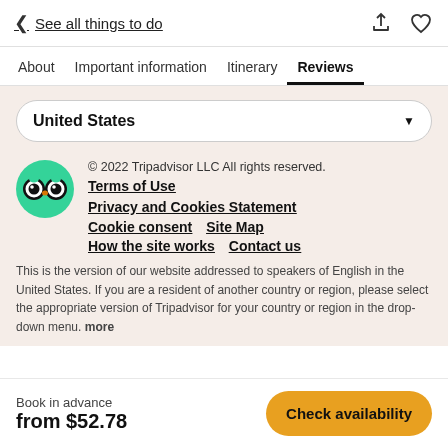< See all things to do
About  Important information  Itinerary  Reviews
United States
© 2022 Tripadvisor LLC All rights reserved.
Terms of Use
Privacy and Cookies Statement
Cookie consent   Site Map
How the site works   Contact us
This is the version of our website addressed to speakers of English in the United States. If you are a resident of another country or region, please select the appropriate version of Tripadvisor for your country or region in the drop-down menu. more
Book in advance
from $52.78